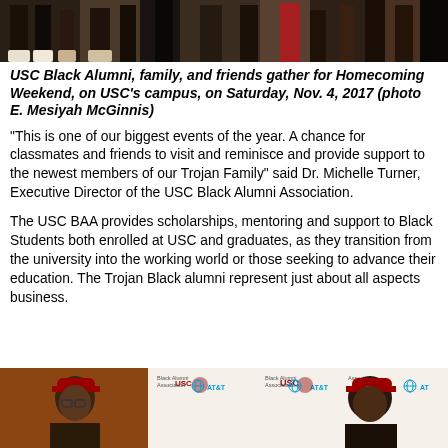[Figure (photo): Photo of people's legs and feet gathered on USC campus for Homecoming Weekend]
USC Black Alumni, family, and friends gather for Homecoming Weekend, on USC's campus, on Saturday, Nov. 4, 2017 (photo E. Mesiyah McGinnis)
“This is one of our biggest events of the year. A chance for classmates and friends to visit and reminisce and provide support to the newest members of our Trojan Family” said Dr. Michelle Turner, Executive Director of the USC Black Alumni Association.
The USC BAA provides scholarships, mentoring and support to Black Students both enrolled at USC and graduates, as they transition from the university into the working world or those seeking to advance their education. The Trojan Black alumni represent just about all aspects business.
[Figure (photo): Photo of USC Black Alumni Association event with people wearing USC hats and USC/AT&T branded backdrop]